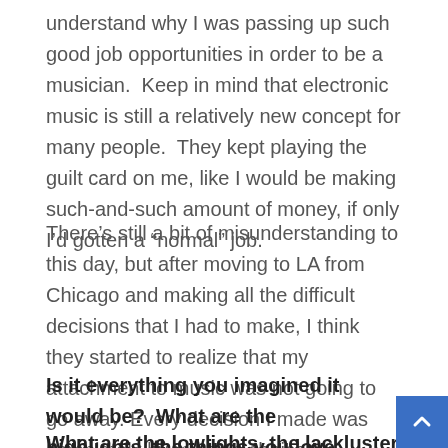understand why I was passing up such good job opportunities in order to be a musician.  Keep in mind that electronic music is still a relatively new concept for many people.  They kept playing the guilt card on me, like I would be making such-and-such amount of money, if only I'd gotten a “normal” job.
There’s still a bit of misunderstanding to this day, but after moving to LA from Chicago and making all the difficult decisions that I had to make, I think they started to realize that my attachment to music was not going to go away. Every decision I made was completely by my own choice.
Is it everything you imagined it would be?  What are the highlights, the things you love most about what you do? What are the lowlights, the lackluster aspects of the